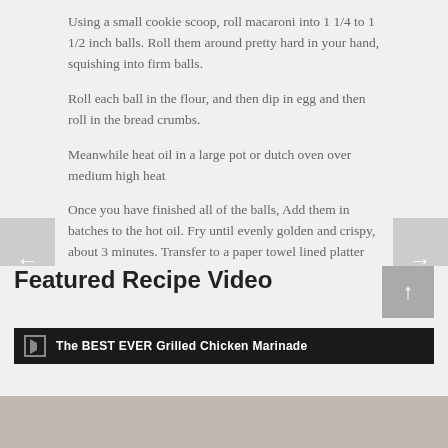Using a small cookie scoop, roll macaroni into 1 1/4 to 1 1/2 inch balls. Roll them around pretty hard in your hand, squishing into firm balls.
Roll each ball in the flour, and then dip in egg and then roll in the bread crumbs.
Meanwhile heat oil in a large pot or dutch oven over medium high heat
Once you have finished all of the balls, Add them in batches to the hot oil. Fry until evenly golden and crispy, about 3 minutes. Transfer to a paper towel lined platter and sprinkle lightly with salt.
Repeat until all of the Mac and Cheese Balls are done. Serve with Ranch dressing for dipping and ENJOY!!!
Featured Recipe Video
The BEST EVER Grilled Chicken Marinade